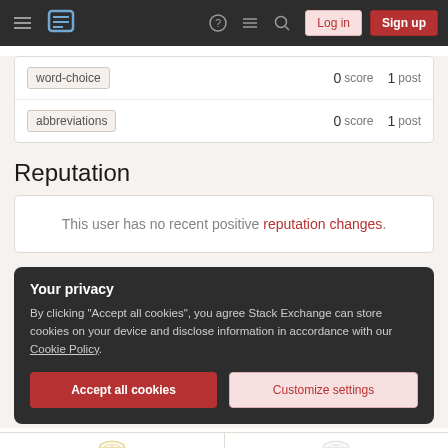Stack Exchange navigation bar with hamburger menu, logo, help, chat, search icons, Log in and Sign up buttons
word-choice  0 score  1 post
abbreviations  0 score  1 post
Reputation
This user has no recent positive reputation changes.
Your privacy
By clicking "Accept all cookies", you agree Stack Exchange can store cookies on your device and disclose information in accordance with our Cookie Policy.
Accept all cookies  Customize settings